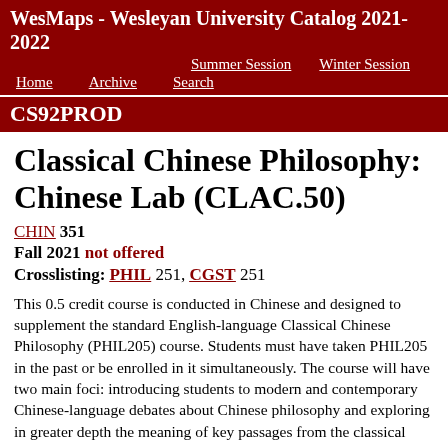WesMaps - Wesleyan University Catalog 2021-2022   Summer Session   Winter Session   Home   Archive   Search
CS92PROD
Classical Chinese Philosophy: Chinese Lab (CLAC.50)
CHIN 351
Fall 2021 not offered
Crosslisting: PHIL 251, CGST 251
This 0.5 credit course is conducted in Chinese and designed to supplement the standard English-language Classical Chinese Philosophy (PHIL205) course. Students must have taken PHIL205 in the past or be enrolled in it simultaneously. The course will have two main foci: introducing students to modern and contemporary Chinese-language debates about Chinese philosophy and exploring in greater depth the meaning of key passages from the classical works students are reading in translation in PHIL205.